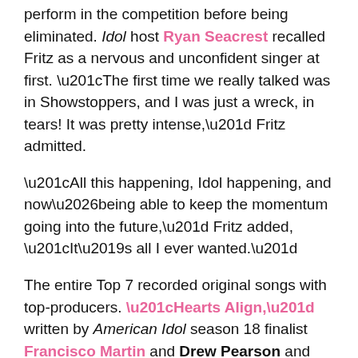perform in the competition before being eliminated. Idol host Ryan Seacrest recalled Fritz as a nervous and unconfident singer at first. “The first time we really talked was in Showstoppers, and I was just a wreck, in tears! It was pretty intense,” Fritz admitted.
“All this happening, Idol happening, and now…being able to keep the momentum going into the future,” Fritz added, “It’s all I ever wanted.”
The entire Top 7 recorded original songs with top-producers. “Hearts Align,” written by American Idol season 18 finalist Francisco Martin and Drew Pearson and produced by King Henry is available